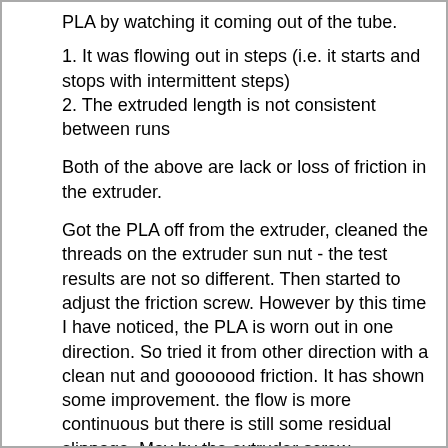PLA by watching it coming out of the tube.
1. It was flowing out in steps (i.e. it starts and stops with intermittent steps)
2. The extruded length is not consistent between runs
Both of the above are lack or loss of friction in the extruder.
Got the PLA off from the extruder, cleaned the threads on the extruder sun nut - the test results are not so different. Then started to adjust the friction screw. However by this time I have noticed, the PLA is worn out in one direction. So tried it from other direction with a clean nut and gooooood friction. It has shown some improvement. the flow is more continuous but there is still some residual slippage. May by the extruder screw threading is not properly cut.
To sum up:
a. Clean the exteruder nut
b. Check the PLA surface was not worn out due to previous runs
c. adjust the friction...